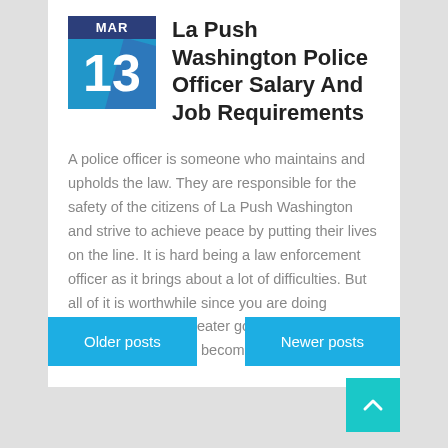La Push Washington Police Officer Salary And Job Requirements
A police officer is someone who maintains and upholds the law. They are responsible for the safety of the citizens of La Push Washington and strive to achieve peace by putting their lives on the line. It is hard being a law enforcement officer as it brings about a lot of difficulties. But all of it is worthwhile since you are doing everything for the greater good. Now then, let us look at how one can become a cop.
Older posts
Newer posts